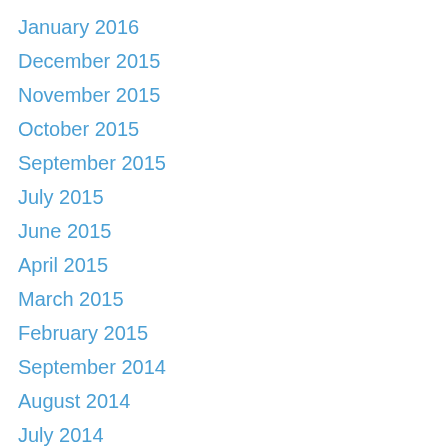January 2016
December 2015
November 2015
October 2015
September 2015
July 2015
June 2015
April 2015
March 2015
February 2015
September 2014
August 2014
July 2014
June 2014
May 2014
April 2014
March 2014
February 2014
January 2014
December 2013